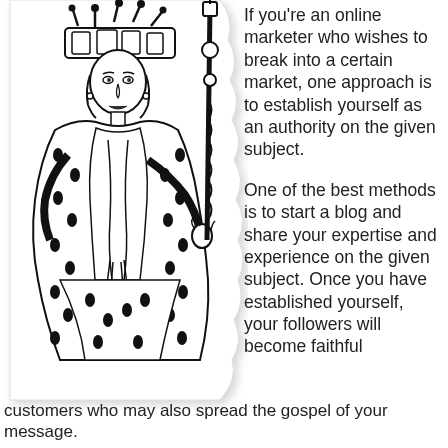[Figure (illustration): Black and white line drawing of a queen or royal figure seated, wearing a crown and ermine-trimmed robe, holding a royal scepter.]
If you're an online marketer who wishes to break into a certain market, one approach is to establish yourself as an authority on the given subject.
One of the best methods is to start a blog and share your expertise and experience on the given subject. Once you have established yourself, your followers will become faithful customers who may also spread the gospel of your message.